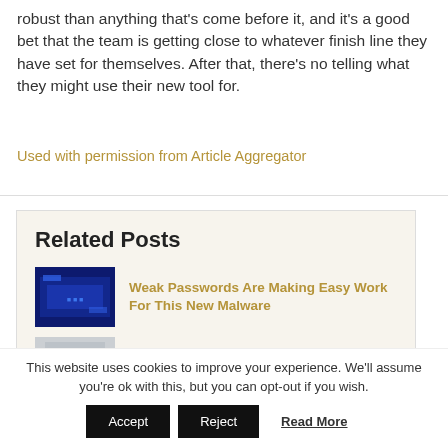robust than anything that's come before it, and it's a good bet that the team is getting close to whatever finish line they have set for themselves. After that, there's no telling what they might use their new tool for.
Used with permission from Article Aggregator
Related Posts
Weak Passwords Are Making Easy Work For This New Malware
Older iPhones Are Being Purposefully Throttled, According
This website uses cookies to improve your experience. We'll assume you're ok with this, but you can opt-out if you wish.
Accept  Reject  Read More